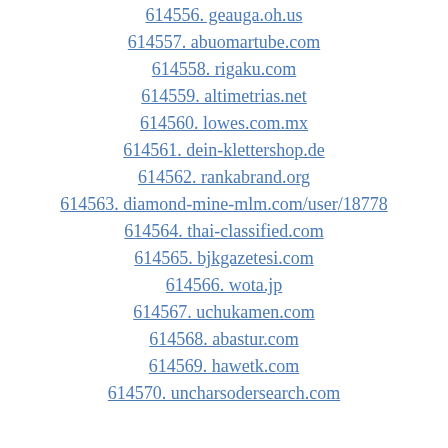614556. geauga.oh.us
614557. abuomartube.com
614558. rigaku.com
614559. altimetrias.net
614560. lowes.com.mx
614561. dein-klettershop.de
614562. rankabrand.org
614563. diamond-mine-mlm.com/user/18778
614564. thai-classified.com
614565. bjkgazetesi.com
614566. wota.jp
614567. uchukamen.com
614568. abastur.com
614569. hawetk.com
614570. uncharsodersearch.com